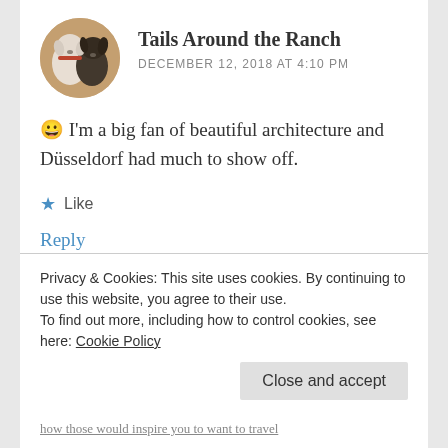Tails Around the Ranch
DECEMBER 12, 2018 AT 4:10 PM
😀 I'm a big fan of beautiful architecture and Düsseldorf had much to show off.
★ Like
Reply
Privacy & Cookies: This site uses cookies. By continuing to use this website, you agree to their use. To find out more, including how to control cookies, see here: Cookie Policy
Close and accept
how those would inspire you to want to travel